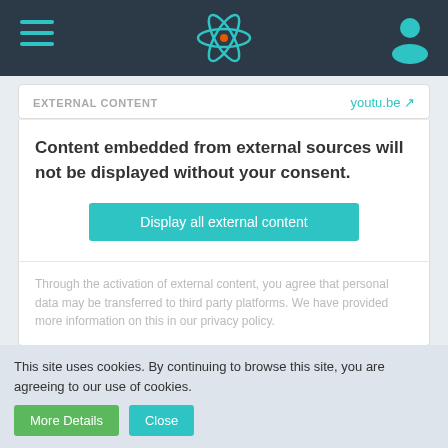Navigation bar with hamburger menu, React logo, and user icon
EXTERNAL CONTENT   youtu.be
Content embedded from external sources will not be displayed without your consent.
Display all external content
Through the activation of external content, you agree that personal data may be transferred to third party platforms. We have provided more information on this in our privacy policy.
Edited once, last by RobertBryant (May 4th 2021).
This site uses cookies. By continuing to browse this site, you are agreeing to our use of cookies.
More Details   Close